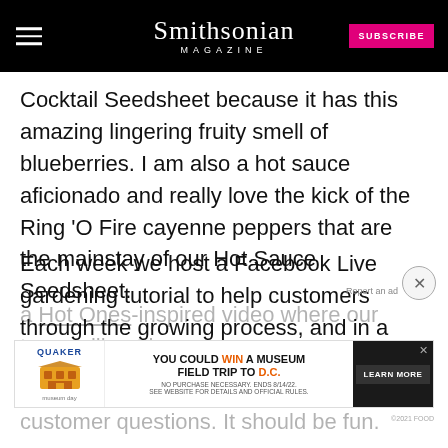Smithsonian MAGAZINE
Cocktail Seedsheet because it has this amazing lingering fruity smell of blueberries. I am also a hot sauce aficionado and really love the kick of the Ring 'O Fire cayenne peppers that are the mainstay of our Hot Sauce Seedsheet.
Each week we host a Facebook Live gardening tutorial to help customers through the growing process, and in a few weeks, we will be having a Hot Ones-inspired video where our team will eat h[ot wings and answer customer questions. It should be fun.